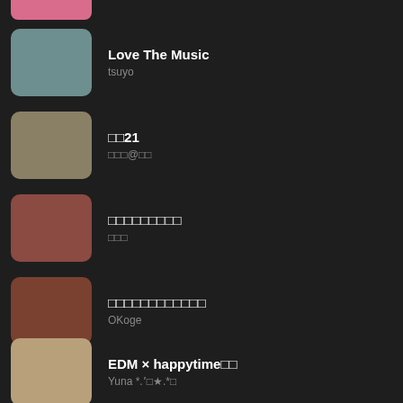Love The Music
tsuyo
□□21
□□□@□□
□□□□□□□□□
□□□
□□□□□□□□□□□□
OKoge
EDM × happytime□□
Yuna *.ʼ□★.*□